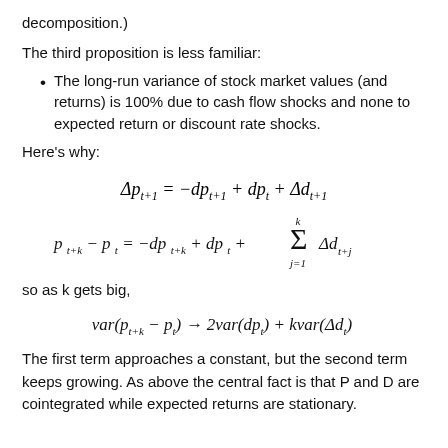decomposition.)
The third proposition is less familiar:
The long-run variance of stock market values (and returns) is 100% due to cash flow shocks and none to expected return or discount rate shocks.
Here's why:
so as k gets big,
The first term approaches a constant, but the second term keeps growing. As above the central fact is that P and D are cointegrated while expected returns are stationary.